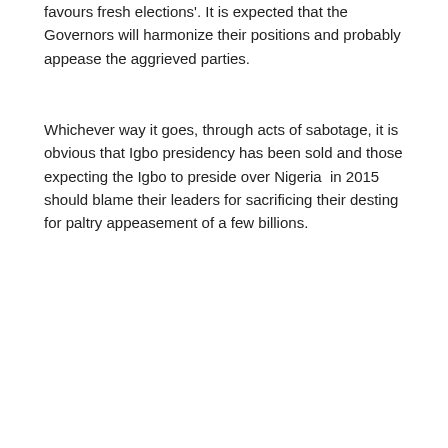favours fresh elections'. It is expected that the Governors will harmonize their positions and probably appease the aggrieved parties.
Whichever way it goes, through acts of sabotage, it is obvious that Igbo presidency has been sold and those expecting the Igbo to preside over Nigeria  in 2015 should blame their leaders for sacrificing their desting for paltry appeasement of a few billions.
[Figure (other): Social sharing buttons row: share toggle button with arrow, followed by Facebook (blue), Twitter (cyan), Pinterest (red), WhatsApp (green), Email (black), Print (dark grey) icon buttons]